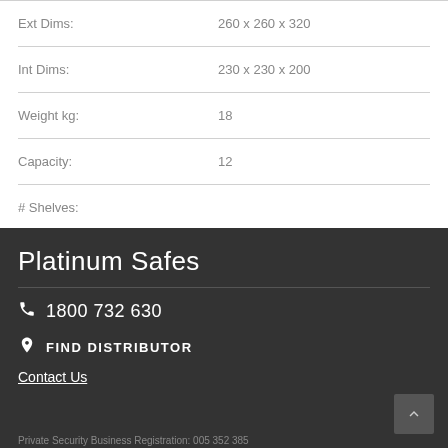| Label | Value |
| --- | --- |
| Ext Dims: | 260 x 260 x 320 |
| Int Dims: | 230 x 230 x 200 |
| Weight kg: | 18 |
| Capacity: | 12 |
| # Shelves: |  |
Platinum Safes
1800 732 630
FIND DISTRIBUTOR
Contact Us
Private Security Business Registration: 005 352 385